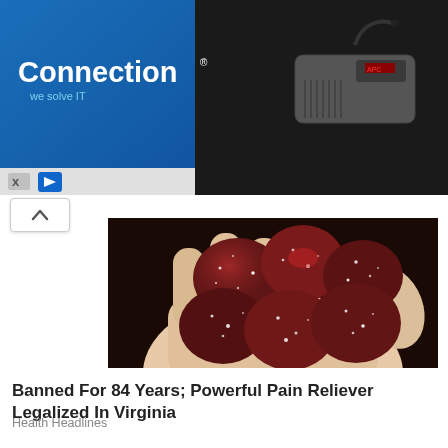[Figure (photo): Connection IT company advertisement banner with blue gradient logo on left, APC UPS device on right, dark background]
[Figure (photo): Close-up photo of a hand holding several dark red sugar-coated gummy candies/supplements]
Banned For 84 Years; Powerful Pain Reliever Legalized In Virginia
Health Headlines